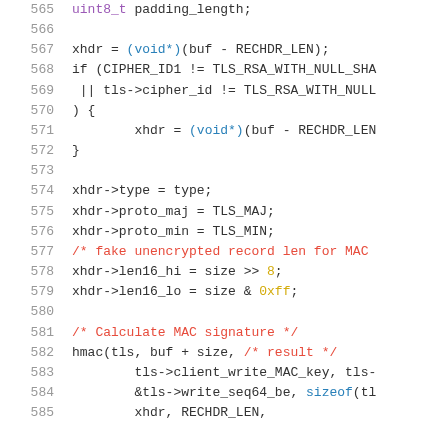Source code listing lines 565-585 showing C code for TLS record processing with xhdr setup, MAC calculation using hmac().